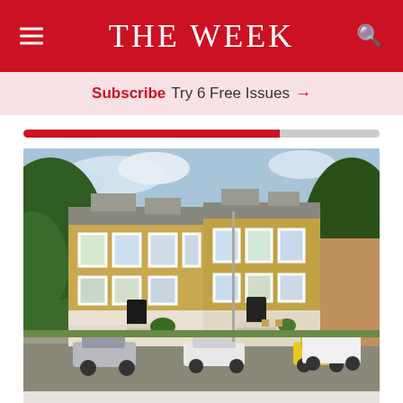THE WEEK
Subscribe  Try 6 Free Issues  →
[Figure (photo): Exterior photograph of a row of Victorian brick terraced houses with white-framed sash windows, front steps, and parked cars on the street with trees]
Savills